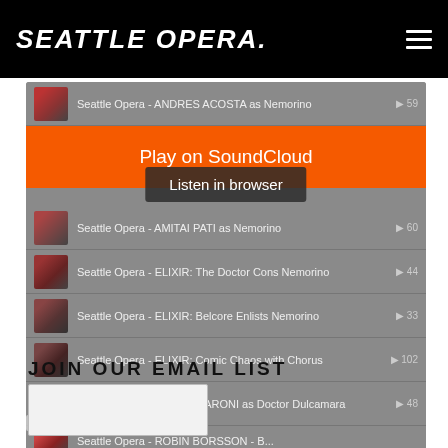SEATTLE OPERA.
[Figure (screenshot): SoundCloud embedded music player widget showing Seattle Opera tracks. Includes orange 'Play on SoundCloud' button and 'Listen in browser' tooltip. Tracks listed: Seattle Opera - ANDRES ACOSTA as Nemorino (59), Seattle Opera - AMITAI PATI as Nemorino (60), Seattle Opera - ELIXIR: The Doctor Cons Nemorino (44), Seattle Opera - ELIXIR: Belcore Enlists Nemorino (33), Seattle Opera - ELIXIR: Comic Chaos with Chorus (102), Seattle Opera - LUCA PISARONI as Doctor Dulcamara (48), partially visible track. Footer shows Seattle Opera logo and 'Latest tracks by Seattle Opera' link. Privacy policy badge at bottom left.]
JOIN OUR EMAIL LIST